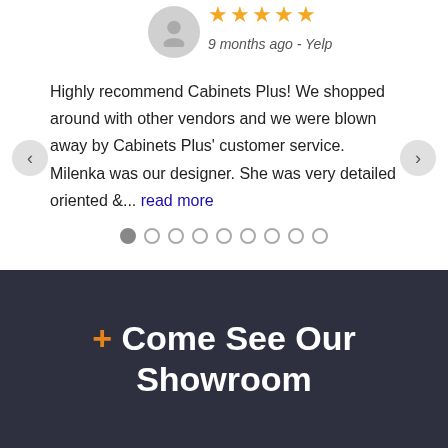[Figure (illustration): Gray circular avatar icon with a person silhouette]
[Figure (other): Five gold star rating]
9 months ago - Yelp
Highly recommend Cabinets Plus! We shopped around with other vendors and we were blown away by Cabinets Plus' customer service. Milenka was our designer. She was very detailed oriented &... read more
[Figure (other): Carousel navigation dots — 9 dots, first one active]
+ Come See Our Showroom